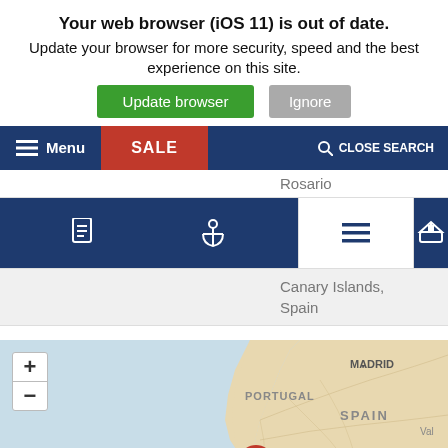Your web browser (iOS 11) is out of date.
Update your browser for more security, speed and the best experience on this site.
Update browser | Ignore
[Figure (screenshot): Navigation bar with hamburger menu icon, Menu label, red SALE button, and CLOSE SEARCH with magnifier icon on dark navy background]
Rosario
[Figure (screenshot): Icon bar with document, anchor, hamburger menu, and ship icons on navy background with white middle section]
Canary Islands, Spain
[Figure (map): Map showing Portugal, Spain with Madrid, Lisbon (with red pin), Seville, Gibraltar (with red pin), and Val(encia) partially visible. Blue water, tan land, road networks visible. Zoom +/- controls in top left.]